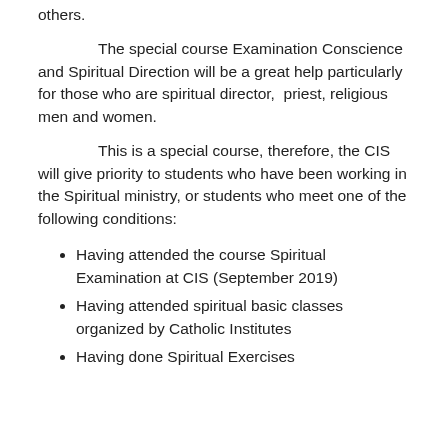others.
The special course Examination Conscience and Spiritual Direction will be a great help particularly for those who are spiritual director,  priest, religious men and women.
This is a special course, therefore, the CIS will give priority to students who have been working in the Spiritual ministry, or students who meet one of the following conditions:
Having attended the course Spiritual Examination at CIS (September 2019)
Having attended spiritual basic classes organized by Catholic Institutes
Having done Spiritual Exercises